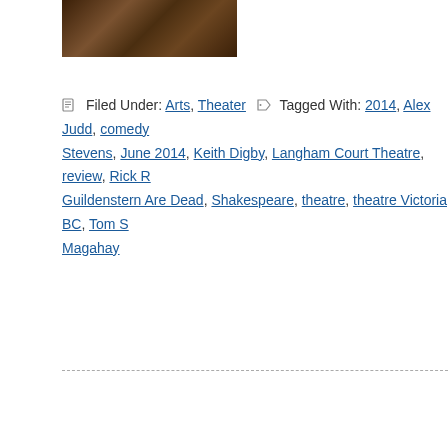[Figure (photo): Photo of wooden barrels, partially visible at top of page]
Filed Under: Arts, Theater  Tagged With: 2014, Alex Judd, comedy Stevens, June 2014, Keith Digby, Langham Court Theatre, review, Rick R Guildenstern Are Dead, Shakespeare, theatre, theatre Victoria BC, Tom S Magahay